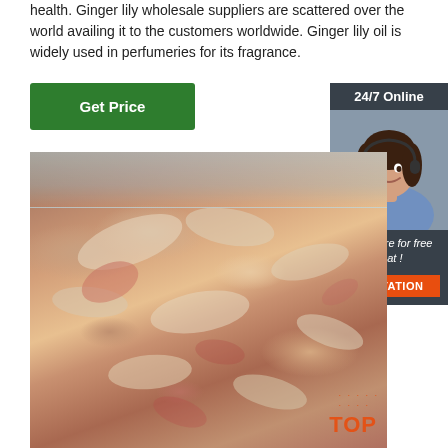health. Ginger lily wholesale suppliers are scattered over the world availing it to the customers worldwide. Ginger lily oil is widely used in perfumeries for its fragrance.
[Figure (other): Green 'Get Price' button]
[Figure (other): Customer service widget with '24/7 Online' header, agent photo, 'Click here for free chat!' text, and orange QUOTATION button]
[Figure (photo): Close-up photo of raw frozen meat/bones in plastic packaging with a 'TOP' watermark in the bottom right corner]